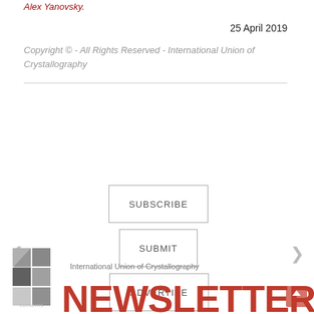Alex Yanovsky.
25 April 2019
Copyright © - All Rights Reserved - International Union of Crystallography
[Figure (other): Three rectangular buttons labeled SUBSCRIBE, SUBMIT, and ADVERTISE with navigation arrows on left and right sides]
[Figure (logo): International Union of Crystallography logo with grid squares and NEWSLETTER text in red]